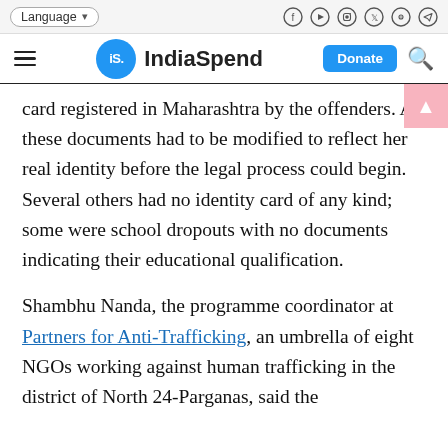Language | [social icons]
IndiaSpend | Donate
card registered in Maharashtra by the offenders. All these documents had to be modified to reflect her real identity before the legal process could begin. Several others had no identity card of any kind; some were school dropouts with no documents indicating their educational qualification.
Shambhu Nanda, the programme coordinator at Partners for Anti-Trafficking, an umbrella of eight NGOs working against human trafficking in the district of North 24-Parganas, said the